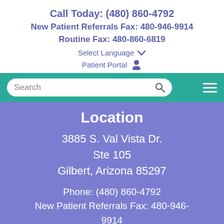Call Today: (480) 860-4792
New Patient Referrals Fax: 480-946-9914
Routine Fax: 480-860-6819
Select Language ▾
Patient Portal 👤
[Figure (screenshot): Teal navigation bar with a search box and hamburger menu icon]
Location
3885 S. Val Vista Dr.
Ste 105
Gilbert, Arizona 85297
Phone: (480) 860-4792
New Patient Referrals Fax: 480-946-9914
REQUEST AN APPOINTMENT
Hours: